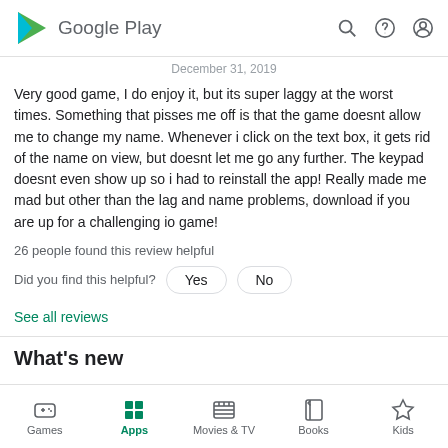Google Play
December 31, 2019
Very good game, I do enjoy it, but its super laggy at the worst times. Something that pisses me off is that the game doesnt allow me to change my name. Whenever i click on the text box, it gets rid of the name on view, but doesnt let me go any further. The keypad doesnt even show up so i had to reinstall the app! Really made me mad but other than the lag and name problems, download if you are up for a challenging io game!
26 people found this review helpful
Did you find this helpful?
See all reviews
What's new
Games | Apps | Movies & TV | Books | Kids